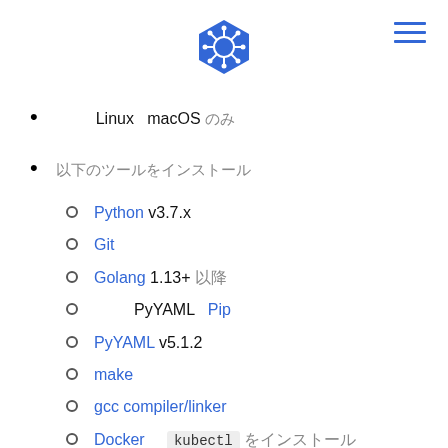[Figure (logo): Kubernetes blue hexagonal helm logo at top center]
Linux  macOS のみ
以下のツールをインストール
Python v3.7.x
Git
Golang 1.13+ 以降
PyYAML を Pip でインストール
PyYAML v5.1.2
make
gcc compiler/linker
Docker と kubectl をインストール